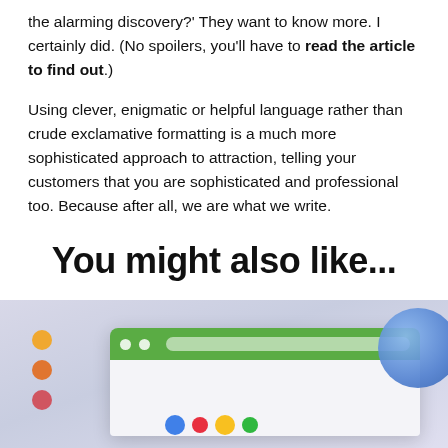the alarming discovery?' They want to know more. I certainly did. (No spoilers, you'll have to read the article to find out.)
Using clever, enigmatic or helpful language rather than crude exclamative formatting is a much more sophisticated approach to attraction, telling your customers that you are sophisticated and professional too. Because after all, we are what we write.
You might also like...
[Figure (illustration): 3D illustration showing a browser window with a green address bar and two white dots, sitting on a light purple/lavender gradient background. Yellow, orange, and red dots are on the left side. A blue sphere is in the upper right. Colorful dots (blue, red, yellow, green) appear at the bottom center.]